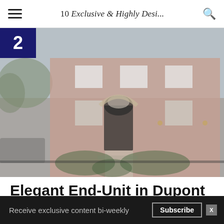10 Exclusive & Highly Desi...
[Figure (photo): Exterior photo of an elegant brick townhouse with arched front door, white trim windows, and landscaped front yard. A dark number '2' badge appears in the upper left corner of the photo.]
Elegant End-Unit in Dupont
1719 19th St NW, Washington, DC
Receive exclusive content bi-weekly